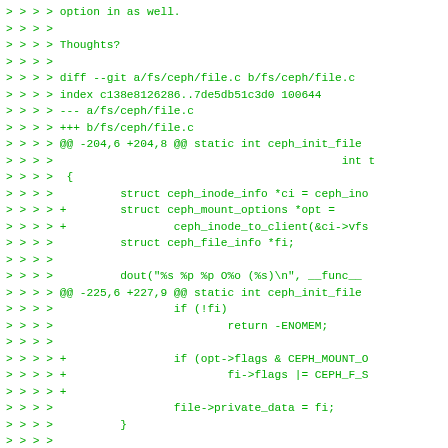Code diff showing ceph filesystem changes including git diff headers, struct declarations for ceph_inode_info, ceph_mount_options, ceph_file_info, and conditional logic for CEPH_MOUNT flags and CEPH_F flags.